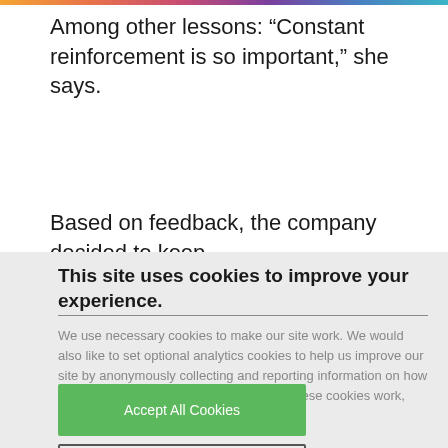Among other lessons: “Constant reinforcement is so important,” she says.
Based on feedback, the company decided to keep
This site uses cookies to improve your experience.
We use necessary cookies to make our site work. We would also like to set optional analytics cookies to help us improve our site by anonymously collecting and reporting information on how you use it. For more information on how these cookies work, please see our Cookie policy.
Accept All Cookies
Change Cookie Preferences